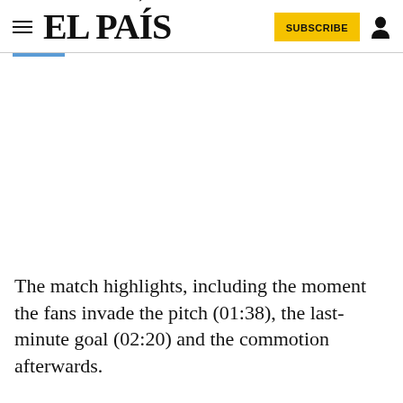EL PAÍS
[Figure (screenshot): Video player placeholder area (blank/white)]
The match highlights, including the moment the fans invade the pitch (01:38), the last-minute goal (02:20) and the commotion afterwards.